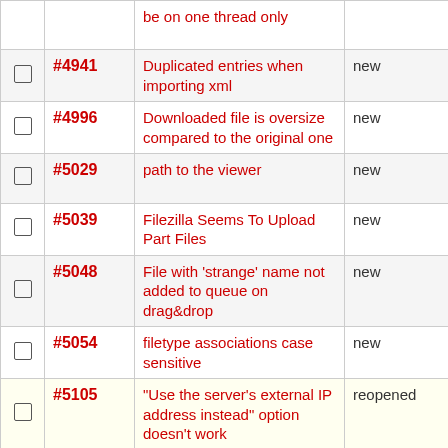|  | ID | Description | Status |  |
| --- | --- | --- | --- | --- |
|  |  | be on one thread only |  | B re |
| ☐ | #4941 | Duplicated entries when importing xml | new | B re |
| ☐ | #4996 | Downloaded file is oversize compared to the original one | new | B re |
| ☐ | #5029 | path to the viewer | new | B re |
| ☐ | #5039 | Filezilla Seems To Upload Part Files | new | B re |
| ☐ | #5048 | File with 'strange' name not added to queue on drag&drop | new | B re |
| ☐ | #5054 | filetype associations case sensitive | new | B re |
| ☐ | #5105 | "Use the server's external IP address instead" option doesn't work | reopened | B re |
| ☐ | #5116 | Slow local list view indicates with... | reopened | B |